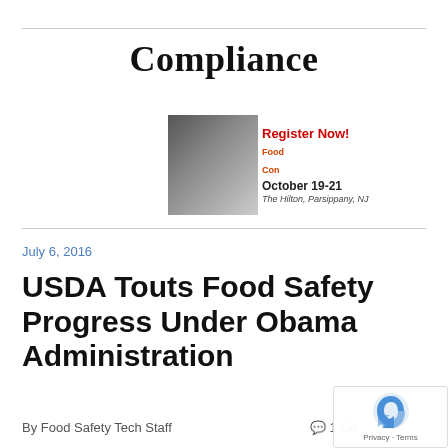Compliance
[Figure (infographic): Advertisement banner: Register Now! Food Con[ference], October 19-21, The Hilton, Parsippany, NJ]
July 6, 2016
USDA Touts Food Safety Progress Under Obama Administration
By Food Safety Tech Staff
1 Co[mment]